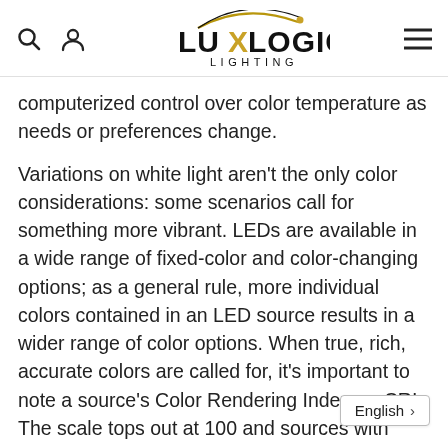LUX LOGIC LIGHTING
computerized control over color temperature as needs or preferences change.
Variations on white light aren’t the only color considerations: some scenarios call for something more vibrant. LEDs are available in a wide range of fixed-color and color-changing options; as a general rule, more individual colors contained in an LED source results in a wider range of color options. When true, rich, accurate colors are called for, it’s important to note a source’s Color Rendering Index, or CRI. The scale tops out at 100 and sources with higher CRIs have a fuller spectrum that renders colors in more true-to-life ways